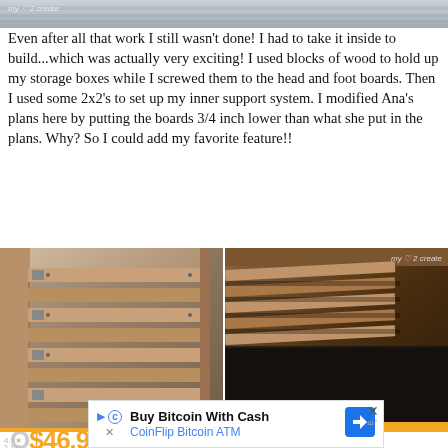[Figure (photo): Top edge of a photo showing a wooden bed frame construction, partially visible]
Even after all that work I still wasn't done!  I had to take it inside to build...which was actually very exciting! I used blocks of wood to hold up my storage boxes while I screwed them to the head and foot boards.  Then I used some 2x2's to set up my inner support system.  I modified Ana's plans here by putting the boards 3/4 inch lower than what she put in the plans.  Why?  So I could add my favorite feature!!
[Figure (photo): Two side-by-side photos showing wooden bed frame construction: left photo shows headboard/footboard with horizontal slats and metal brackets; right photo shows bed slats installed with watermark 'my heart 2 create']